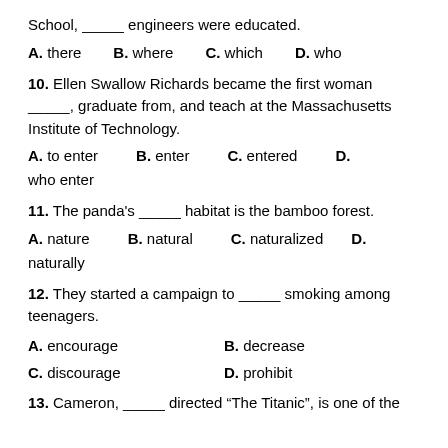School, _____ engineers were educated.
A. there   B. where   C. which   D. who
10. Ellen Swallow Richards became the first woman _____, graduate from, and teach at the Massachusetts Institute of Technology.
A. to enter   B. enter   C. entered   D. who enter
11. The panda's _____ habitat is the bamboo forest.
A. nature   B. natural   C. naturalized   D. naturally
12. They started a campaign to _____ smoking among teenagers.
A. encourage   B. decrease   C. discourage   D. prohibit
13. Cameron, _____ directed “The Titanic”, is one of the